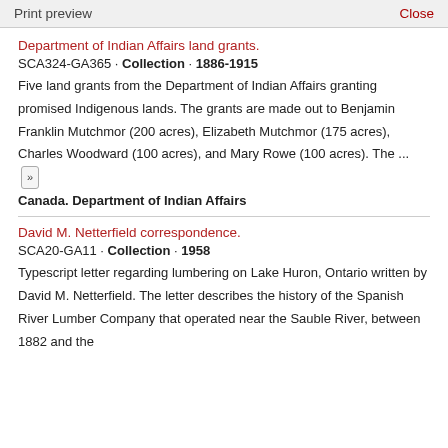Print preview   Close
Department of Indian Affairs land grants.
SCA324-GA365 · Collection · 1886-1915
Five land grants from the Department of Indian Affairs granting promised Indigenous lands. The grants are made out to Benjamin Franklin Mutchmor (200 acres), Elizabeth Mutchmor (175 acres), Charles Woodward (100 acres), and Mary Rowe (100 acres). The ... »
Canada. Department of Indian Affairs
David M. Netterfield correspondence.
SCA20-GA11 · Collection · 1958
Typescript letter regarding lumbering on Lake Huron, Ontario written by David M. Netterfield. The letter describes the history of the Spanish River Lumber Company that operated near the Sauble River, between 1882 and the